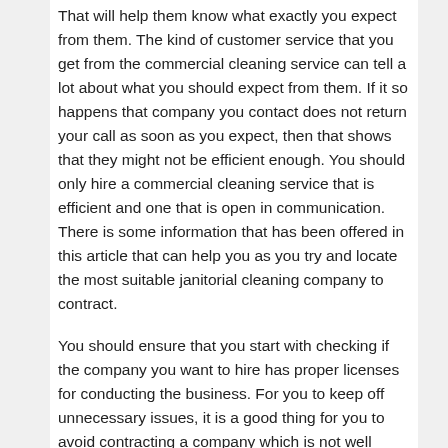That will help them know what exactly you expect from them. The kind of customer service that you get from the commercial cleaning service can tell a lot about what you should expect from them. If it so happens that company you contact does not return your call as soon as you expect, then that shows that they might not be efficient enough. You should only hire a commercial cleaning service that is efficient and one that is open in communication. There is some information that has been offered in this article that can help you as you try and locate the most suitable janitorial cleaning company to contract.
You should ensure that you start with checking if the company you want to hire has proper licenses for conducting the business. For you to keep off unnecessary issues, it is a good thing for you to avoid contracting a company which is not well licensed. You should choose a company that is best suited for your business. The other thing that you should check before contracting any commercial cleaning service is the amount of experience they have to provide those